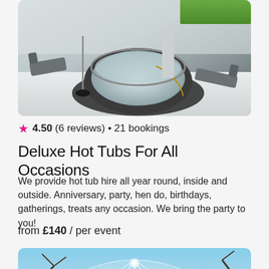[Figure (photo): Outdoor rooftop setting with a round inflatable hot tub surrounded by rattan lounger chairs on a white tiled deck]
4.50 (6 reviews) • 21 bookings
Deluxe Hot Tubs For All Occasions
We provide hot tub hire all year round, inside and outside. Anniversary, party, hen do, birthdays, gatherings, treats any occasion. We bring the party to you!
from £140 / per event
[Figure (photo): A transparent geodesic dome structure surrounded by green foliage and plants against a blue sky]